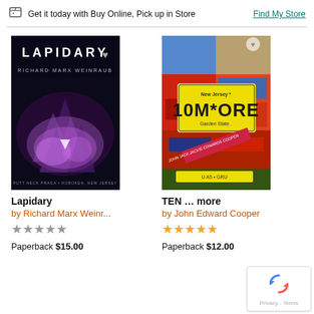Get it today with Buy Online, Pick up in Store   Find My Store
[Figure (illustration): Book cover of Lapidary by Richard Marx Weinraub – dark background with purple crystal/flower imagery]
[Figure (illustration): Book cover of TEN ... more by John Edward Cooper – New Jersey license plate '10M*ORE Garden State' with colorful car collage background]
Lapidary
by Richard Marx Weinr...
★★★★★ (empty stars)
Paperback $15.00
TEN ... more
by John Edward Cooper
★★★★★ (5 gold stars)
Paperback $12.00